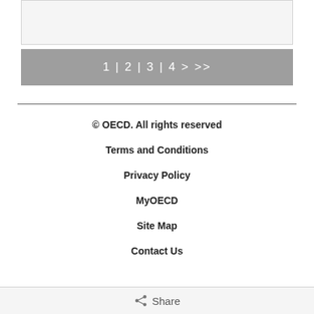[Figure (other): Gray box at top of page, partial content area]
1 | 2 | 3 | 4 > >>
© OECD. All rights reserved
Terms and Conditions
Privacy Policy
MyOECD
Site Map
Contact Us
Share